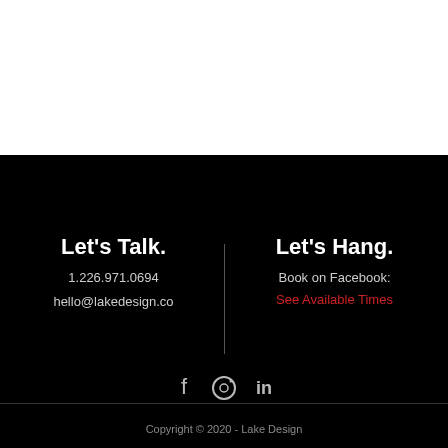Let's Talk.
1.226.971.0694
hello@lakedesign.co
Let's Hang.
Book on Facebook:
See Available Times
[Figure (illustration): Social media icons: Facebook (f), Instagram (camera), LinkedIn (in)]
Copyright © 2020 - Lake Design